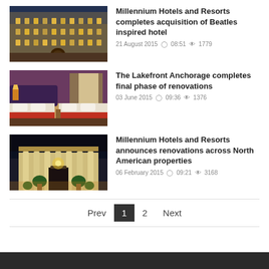[Figure (photo): Exterior of a grand historic building lit up at night - Beatles inspired hotel]
Millennium Hotels and Resorts completes acquisition of Beatles inspired hotel
21 August 2015  08:51  1779
[Figure (photo): Hotel room with two beds, red bedding and warm lighting - Lakefront Anchorage]
The Lakefront Anchorage completes final phase of renovations
03 June 2015  09:36  1376
[Figure (photo): Exterior of a hotel with columns and green plants at night - North American property]
Millennium Hotels and Resorts announces renovations across North American properties
06 February 2015  09:21  3168
Prev  1  2  Next